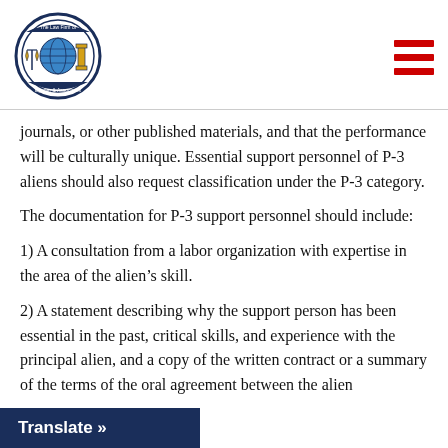The Law Firm of Eggner & Associates [logo] [hamburger menu]
journals, or other published materials, and that the performance will be culturally unique. Essential support personnel of P-3 aliens should also request classification under the P-3 category.
The documentation for P-3 support personnel should include:
1) A consultation from a labor organization with expertise in the area of the alien’s skill.
2) A statement describing why the support person has been essential in the past, critical skills, and experience with the principal alien, and a copy of the written contract or a summary of the terms of the oral agreement between the alien a
Translate »